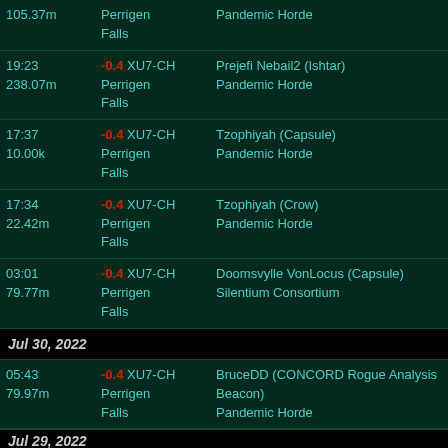| Time/Value | System | Entity/Corp |
| --- | --- | --- |
| 105.37m | Perrigen Falls | Pandemic Horde |
| 19:23
238.07m | -0.4 XU7-CH
Perrigen Falls | Prejefi Nebail2 (Ishtar)
Pandemic Horde |
| 17:37
10.00k | -0.4 XU7-CH
Perrigen Falls | Tzophiyah (Capsule)
Pandemic Horde |
| 17:34
22.42m | -0.4 XU7-CH
Perrigen Falls | Tzophiyah (Crow)
Pandemic Horde |
| 03:01
79.77m | -0.4 XU7-CH
Perrigen Falls | Doomsvylle VonLocus (Capsule)
Silentium Consortium |
Jul 30, 2022
| Time/Value | System | Entity/Corp |
| --- | --- | --- |
| 05:43
79.97m | -0.4 XU7-CH
Perrigen Falls | BruceDD (CONCORD Rogue Analysis Beacon)
Pandemic Horde |
Jul 29, 2022